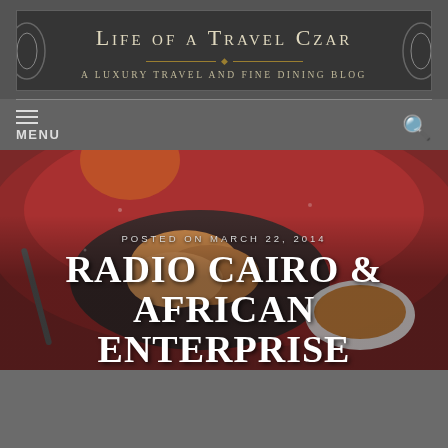Life of a Travel Czar
A Luxury Travel and Fine Dining Blog
MENU
[Figure (photo): Close-up food photo of what appears to be fried shrimp or popcorn shrimp on a dark plate with a small bowl of dipping sauce, set against a red textured background. A fork/spoon is visible on the left.]
POSTED ON MARCH 22, 2014
RADIO CAIRO & AFRICAN ENTERPRISE